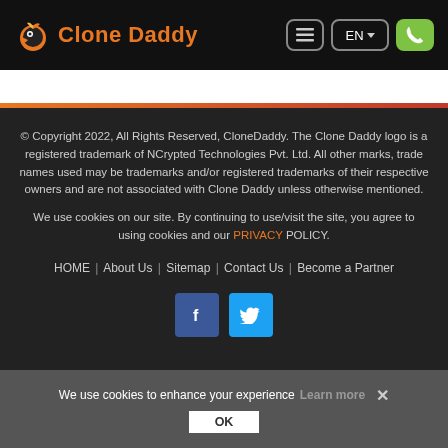Clone Daddy — EN navigation header with menu, language, and call buttons
© Copyright 2022, All Rights Reserved, CloneDaddy. The Clone Daddy logo is a registered trademark of NCrypted Technologies Pvt. Ltd. All other marks, trade names used may be trademarks and/or registered trademarks of their respective owners and are not associated with Clone Daddy unless otherwise mentioned.
We use cookies on our site. By continuing to use/visit the site, you agree to using cookies and our PRIVACY POLICY.
HOME | About Us | Sitemap | Contact Us | Become a Partner
[Figure (other): Facebook and Twitter social media icon buttons (blue square icons with f and bird logos)]
We use cookies to enhance your experience Learn more ✕ OK